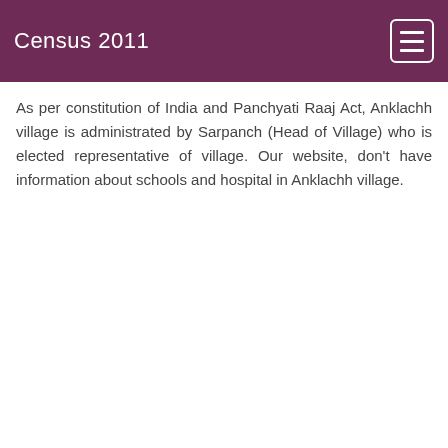Census 2011
As per constitution of India and Panchyati Raaj Act, Anklachh village is administrated by Sarpanch (Head of Village) who is elected representative of village. Our website, don't have information about schools and hospital in Anklachh village.